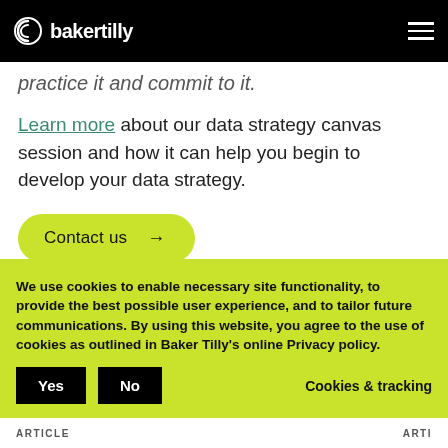bakertilly
practice it and commit to it.
Learn more about our data strategy canvas session and how it can help you begin to develop your data strategy.
Contact us →
We use cookies to enable necessary site functionality, to provide the best possible user experience, and to tailor future communications. By using this website, you agree to the use of cookies as outlined in Baker Tilly's online Privacy policy.
Yes  No  Cookies & tracking
ARTICLE  ARTI